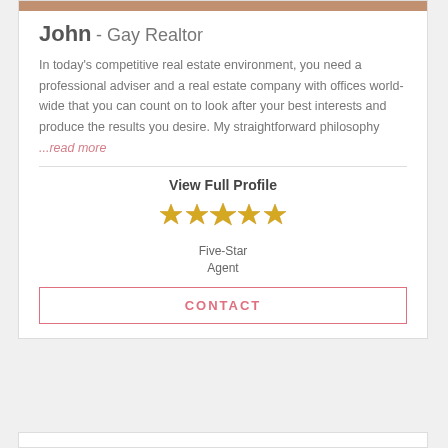[Figure (photo): Partial photo at top of card (cropped, showing bottom of a person's image)]
John - Gay Realtor
In today’s competitive real estate environment, you need a professional adviser and a real estate company with offices world-wide that you can count on to look after your best interests and produce the results you desire. My straightforward philosophy ...read more
View Full Profile
[Figure (illustration): Five gold stars rating graphic]
Five-Star Agent
CONTACT